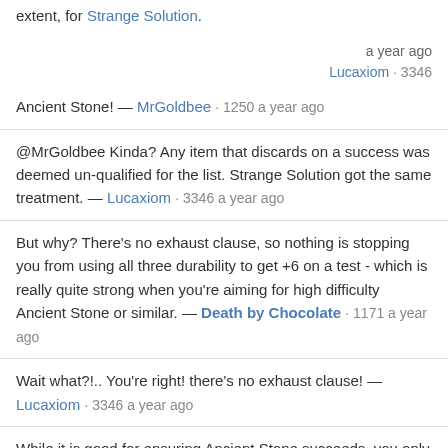extent, for Strange Solution.
a year ago
Lucaxiom · 3346
Ancient Stone! — MrGoldbee · 1250 a year ago
@MrGoldbee Kinda? Any item that discards on a success was deemed un-qualified for the list. Strange Solution got the same treatment. — Lucaxiom · 3346 a year ago
But why? There's no exhaust clause, so nothing is stopping you from using all three durability to get +6 on a test - which is really quite strong when you're aiming for high difficulty Ancient Stone or similar. — Death by Chocolate · 1171 a year ago
Wait what?!.. You're right! there's no exhaust clause! — Lucaxiom · 3346 a year ago
While it is good for ensuring Ancient Stone succeeds, you only record the difficulty of the test, not how much you succeeded by. So "6 more secrets than you would otherwise get" is not true. — TrisJ1 · 1 10 months ago
It lets you take on a big test. — MrGoldbee · 1250 10 months ago